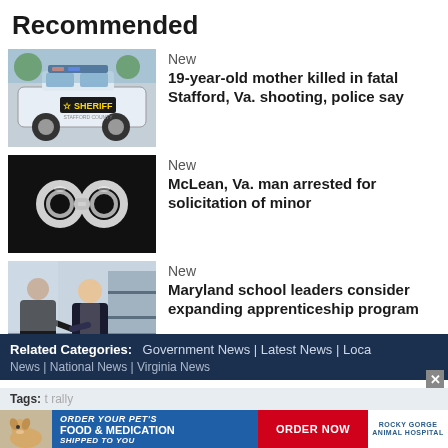Recommended
[Figure (photo): Stafford County Sheriff police car]
New
19-year-old mother killed in fatal Stafford, Va. shooting, police say
[Figure (photo): Handcuffs on dark background]
New
McLean, Va. man arrested for solicitation of minor
[Figure (photo): Two people at a meeting table, business setting]
New
Maryland school leaders consider expanding apprenticeship program
Related Categories: Government News | Latest News | Local News | National News | Virginia News
Tags:
[Figure (advertisement): Rocky Gorge Animal Hospital pet food and medication ad]